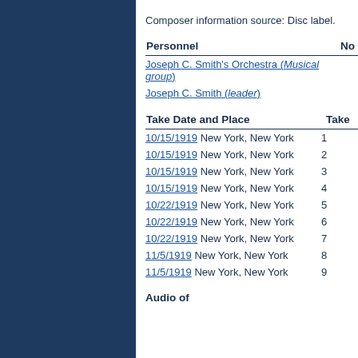Composer information source: Disc label.
| Personnel | No |
| --- | --- |
| Joseph C. Smith's Orchestra (Musical group) |  |
| Joseph C. Smith (leader) |  |
| Take Date and Place | Take |
| --- | --- |
| 10/15/1919 New York, New York | 1 |
| 10/15/1919 New York, New York | 2 |
| 10/15/1919 New York, New York | 3 |
| 10/15/1919 New York, New York | 4 |
| 10/22/1919 New York, New York | 5 |
| 10/22/1919 New York, New York | 6 |
| 10/22/1919 New York, New York | 7 |
| 11/5/1919 New York, New York | 8 |
| 11/5/1919 New York, New York | 9 |
Audio of